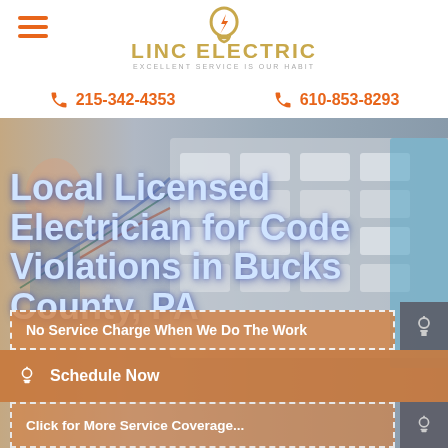[Figure (logo): Linc Electric logo with tagline 'Excellent Service Is Our Habit']
215-342-4353
610-853-8293
[Figure (photo): Background photo of electrical panel/circuit breakers]
Local Licensed Electrician for Code Violations in Bucks County, PA
No Service Charge When We Do The Work
Schedule Now
Click for More Service Coverage...